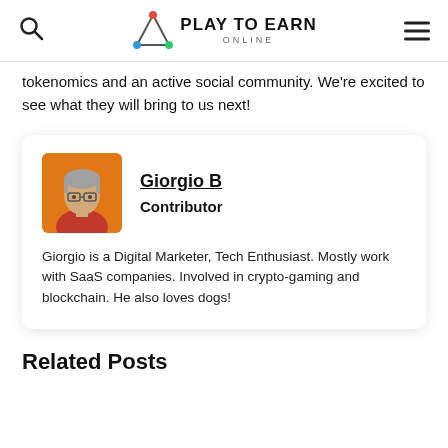Play To Earn Online
tokenomics and an active social community. We're excited to see what they will bring to us next!
[Figure (illustration): Author photo of Giorgio B, a man with gray hair and glasses wearing a red shirt, photographed against an orange background]
Giorgio B
Contributor
Giorgio is a Digital Marketer, Tech Enthusiast. Mostly work with SaaS companies. Involved in crypto-gaming and blockchain. He also loves dogs!
Related Posts